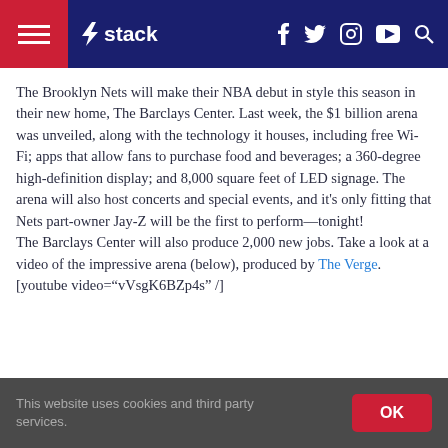stack [navigation bar with hamburger menu, logo, social icons: f, twitter, instagram, youtube, search]
The Brooklyn Nets will make their NBA debut in style this season in their new home, The Barclays Center. Last week, the $1 billion arena was unveiled, along with the technology it houses, including free Wi-Fi; apps that allow fans to purchase food and beverages; a 360-degree high-definition display; and 8,000 square feet of LED signage. The arena will also host concerts and special events, and it's only fitting that Nets part-owner Jay-Z will be the first to perform—tonight!
The Barclays Center will also produce 2,000 new jobs. Take a look at a video of the impressive arena (below), produced by The Verge.[youtube video="vVsgK6BZp4s" /]
This website uses cookies and third party services. OK